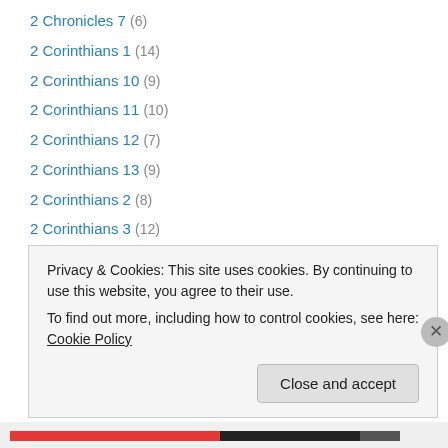2 Chronicles 7 (6)
2 Corinthians 1 (14)
2 Corinthians 10 (9)
2 Corinthians 11 (10)
2 Corinthians 12 (7)
2 Corinthians 13 (9)
2 Corinthians 2 (8)
2 Corinthians 3 (12)
2 Corinthians 4 (18)
2 Corinthians 5 (22)
2 Corinthians 6 (10)
2 Corinthians 7 (9)
2 Corinthians 8 (12)
Privacy & Cookies: This site uses cookies. By continuing to use this website, you agree to their use. To find out more, including how to control cookies, see here: Cookie Policy